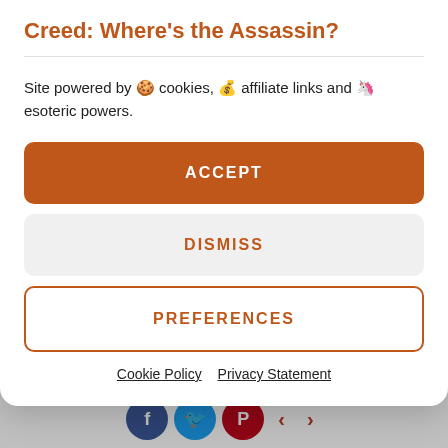Creed: Where's the Assassin?
Site powered by 🍪 cookies, 💰 affiliate links and 🦄 esoteric powers.
ACCEPT
DISMISS
PREFERENCES
Cookie Policy   Privacy Statement